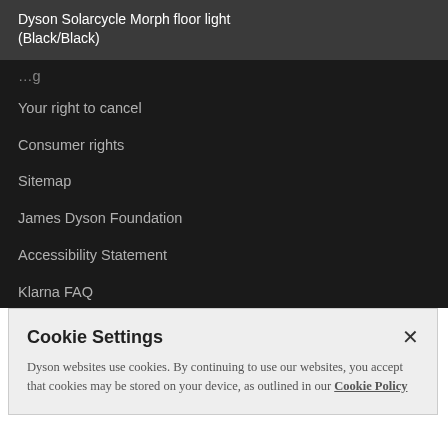Dyson Solarcycle Morph floor light (Black/Black)
Your right to cancel
Consumer rights
Sitemap
James Dyson Foundation
Accessibility Statement
Klarna FAQ
Cookie Settings
Dyson websites use cookies. By continuing to use our websites, you accept that cookies may be stored on your device, as outlined in our Cookie Policy